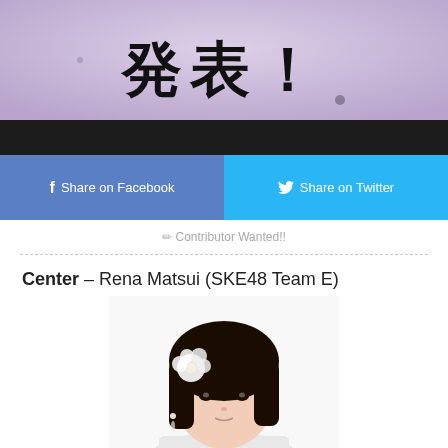[Figure (photo): Top banner with Japanese kanji characters '発表！' on a light purple/violet background with dark bottom strip]
Share on Facebook
Share on Twitter
✏ Contributor Wanted!!
Center – Rena Matsui (SKE48 Team E)
[Figure (photo): Portrait photo of Rena Matsui, a young Japanese woman with dark straight hair, a white flower hair accessory, wearing a white outfit, looking at the camera against a white background]